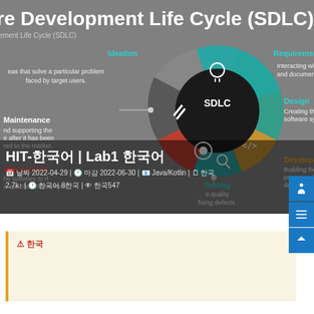re Development Life Cycle (SDLC)
rement Life Cycle (SDLC)
[Figure (infographic): SDLC circular diagram with 6 segments: Ideation (teal, lightbulb icon), Requirements Analysis (teal, computer/gear icon), Design (green, document icon), Development/Coding (golden, code icon), Testing (teal, search/magnifier icon), Deployment (red, gear icon), Maintenance (dark gray, wrench/tools icon). Center black circle labeled 'SDLC'. Each segment has bullet text descriptions on left/right sides.]
Ideation
eas that solve a particular problem faced by target users.
Requirements Analysis
Interacting with stakeholders and and document project requirement.
Maintenance
nd supporting the e after it has been red to the market.
Design
Creating the archi software system a
Deployment
he software to rl a specific environment.
Development / Cod
Building the software u programming language development team.
Testing
e quality fixing defects.
HIT-한국어 | Lab1 한국어
📅 날짜 2022-04-29 | 🕐 마감 2022-06-30 | 📧 Java/Kotlin | 🗒 한국
2.7k↑ | 🕐 한국어 8한국 | 👁 한국547
⚠ 한국